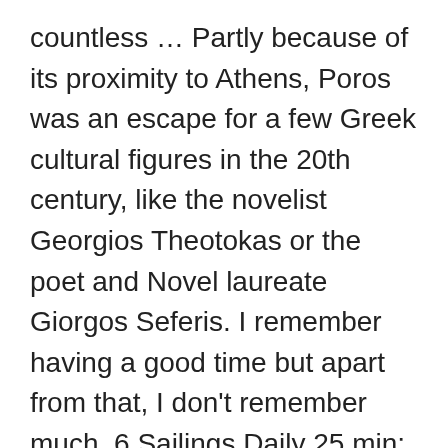countless … Partly because of its proximity to Athens, Poros was an escape for a few Greek cultural figures in the 20th century, like the novelist Georgios Theotokas or the poet and Novel laureate Giorgos Seferis. I remember having a good time but apart from that, I don't remember much. 6 Sailings Daily 25 min; Get price; Get price; Poros Hydra Average Prices. We let you in on secrets on how to book cheap and affordable crossings on … If you own or rent a car, you can easily get from Athens to Poros in appoximately 2 hours. What should I do if I have COVID-19 symptoms when I arrive in Póros? What is the national COVID-19 helpline number in Póros? Find all the transport options for your trip from Athens to Póros right here. The Estimated Driving Distance from Athens Greece to Poros Greece 196.26 miles or 315.85 km The Estimated Driving Time from Athens Greece to Poros Greece is 03 hrs 55